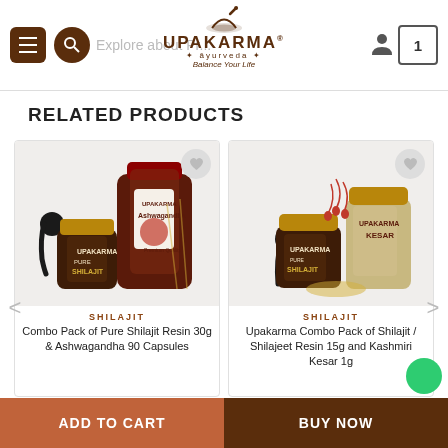[Figure (screenshot): Upakarma Ayurveda website header with hamburger menu, search icon, logo with mortar and pestle, user icon, and cart with item count 1]
RELATED PRODUCTS
[Figure (photo): Combo Pack of Pure Shilajit Resin 30g & Ashwagandha 90 Capsules product image showing two Upakarma jars]
SHILAJIT
Combo Pack of Pure Shilajit Resin 30g & Ashwagandha 90 Capsules
[Figure (photo): Upakarma Combo Pack of Shilajit / Shilajeet Resin 15g and Kashmiri Kesar 1g product image showing jars with saffron]
SHILAJIT
Upakarma Combo Pack of Shilajit / Shilajeet Resin 15g and Kashmiri Kesar 1g
ADD TO CART
BUY NOW